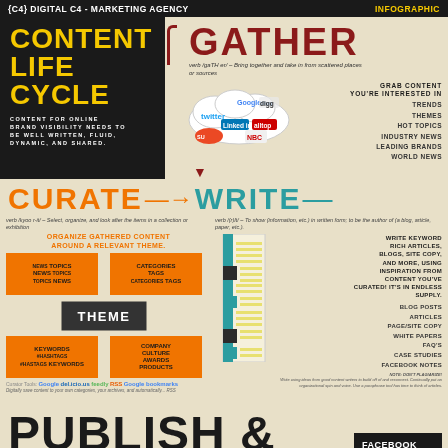{C4} DIGITAL C4 - MARKETING AGENCY | INFOGRAPHIC
CONTENT LIFE CYCLE
CONTENT FOR ONLINE BRAND VISIBILITY NEEDS TO BE WELL WRITTEN, FLUID, DYNAMIC, AND SHARED.
GATHER
verb /gaTH er/ – Bring together and take in from scattered places or sources
[Figure (infographic): Cloud shape containing logos of social/web platforms: Twitter, Google, Digg, LinkedIn, Alltop, StumbleUpon, NBC]
GRAB CONTENT YOU'RE INTERESTED IN
TRENDS
THEMES
HOT TOPICS
INDUSTRY NEWS
LEADING BRANDS
WORLD NEWS
CURATE
WRITE
verb /kyoo r-it/ – Select, organize, and look after the items in a collection or exhibition
verb /(r)It/ – To show (information, etc.) in written form; to be the author of (a blog, article, paper, etc.).
ORGANIZE GATHERED CONTENT AROUND A RELEVANT THEME.
[Figure (infographic): Theme grid with orange boxes: NEWS TOPICS, CATEGORIES TAGS, THEME (center dark box), KEYWORDS #HASHTAGS, COMPANY CULTURE AWARDS PRODUCTS]
Curator Tools: Google, del.icio.us, feedly, RSS, Google bookmarks
Digitally save content to your own categories, your archives, and automatically... RSS
[Figure (infographic): Document/notebook graphic with teal and dark blocks representing written content]
WRITE KEYWORD RICH ARTICLES, BLOGS, SITE COPY, AND MORE, USING INSPIRATION FROM CONTENT YOU'VE CURATED! IT'S IN ENDLESS SUPPLY.
BLOG POSTS
ARTICLES
PAGE/SITE COPY
WHITE PAPERS
FAQ'S
CASE STUDIES
FACEBOOK NOTES
NOTE: DON'T PLAGIARIZE! Write using ideas from good content writers to build off of and reconnect. Continually put an organizational spin and voice. Use a paraphrase tool has time to think of articles.
PUBLISH & SHARE
verb /SHe(ə)r/ – Tell someone about (something), esp. something personal (to you)
I DON'T   WANT AN
FACEBOOK
TWITTER
LINKEDIN
STUMBLEUPON
DIGG